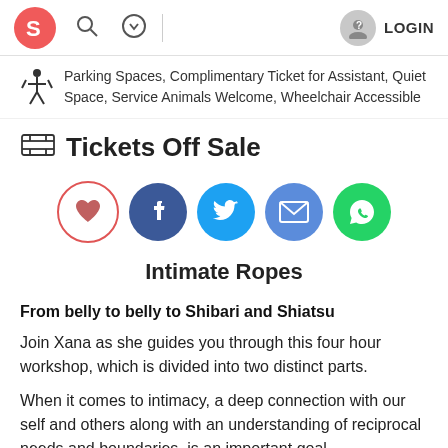LOGIN
Parking Spaces, Complimentary Ticket for Assistant, Quiet Space, Service Animals Welcome, Wheelchair Accessible
Tickets Off Sale
[Figure (infographic): Social sharing buttons: heart/favourite (outline), Facebook, Twitter, Email, WhatsApp]
Intimate Ropes
From belly to belly to Shibari and Shiatsu
Join Xana as she guides you through this four hour workshop, which is divided into two distinct parts.
When it comes to intimacy, a deep connection with our self and others along with an understanding of reciprocal needs and boundaries, is an important goal